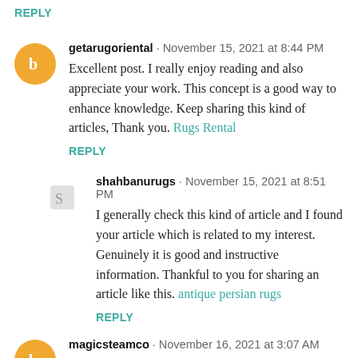REPLY
getarugoriental · November 15, 2021 at 8:44 PM
Excellent post. I really enjoy reading and also appreciate your work. This concept is a good way to enhance knowledge. Keep sharing this kind of articles, Thank you. Rugs Rental
REPLY
shahbanurugs · November 15, 2021 at 8:51 PM
I generally check this kind of article and I found your article which is related to my interest. Genuinely it is good and instructive information. Thankful to you for sharing an article like this. antique persian rugs
REPLY
magicsteamco · November 16, 2021 at 3:07 AM